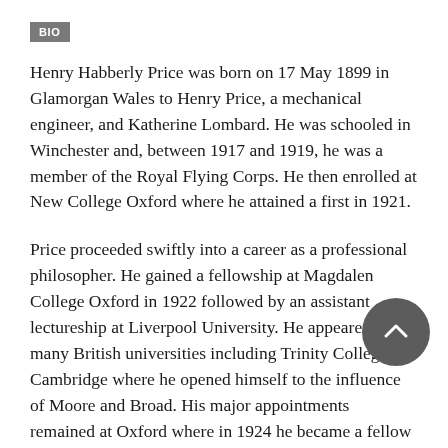BIO
Henry Habberly Price was born on 17 May 1899 in Glamorgan Wales to Henry Price, a mechanical engineer, and Katherine Lombard. He was schooled in Winchester and, between 1917 and 1919, he was a member of the Royal Flying Corps. He then enrolled at New College Oxford where he attained a first in 1921.
Price proceeded swiftly into a career as a professional philosopher. He gained a fellowship at Magdalen College Oxford in 1922 followed by an assistant lectureship at Liverpool University. He appeared at many British universities including Trinity College Cambridge where he opened himself to the influence of Moore and Broad. His major appointments remained at Oxford where in 1924 he became a fellow of Trinity College before becoming Wykeham